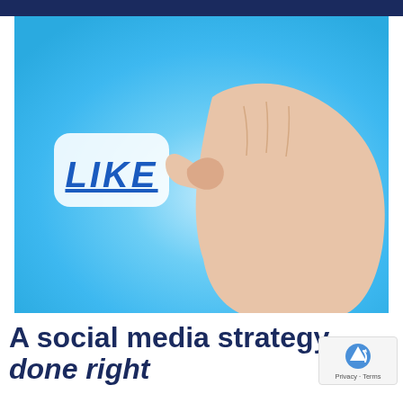[Figure (photo): A hand holding a white rounded card with the word LIKE written in blue block letters, against a light blue background. The image is associated with social media engagement.]
A social media strategy done right